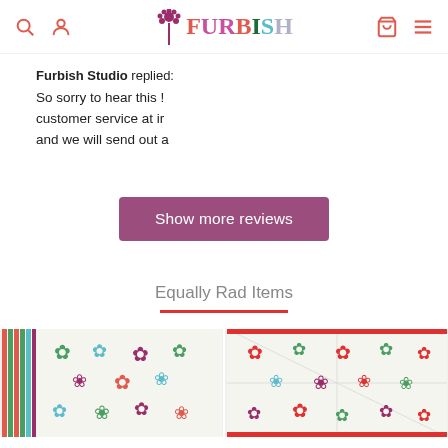Furbish Studio navigation header with search, account, logo, cart, and menu icons
Furbish Studio replied: So sorry to hear this ! customer service at ir and we will send out a
Show more reviews
Equally Rad Items
[Figure (photo): Two product images showing patterned quilted items with floral and geometric designs in green, red, and blue colors]
[Figure (photo): Second product image showing a patterned quilted item with red, white and green geometric floral design]